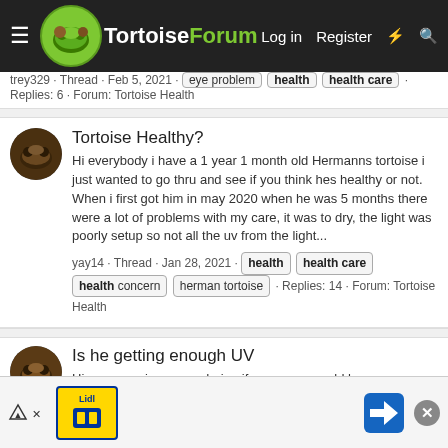TortoiseForum — Log in | Register
trey329 · Thread · Feb 5, 2021 · eye problem | health | health care · Replies: 6 · Forum: Tortoise Health
Tortoise Healthy?
Hi everybody i have a 1 year 1 month old Hermanns tortoise i just wanted to go thru and see if you think hes healthy or not. When i first got him in may 2020 when he was 5 months there were a lot of problems with my care, it was to dry, the light was poorly setup so not all the uv from the light...
yay14 · Thread · Jan 28, 2021 · health | health care | health concern | herman tortoise · Replies: 14 · Forum: Tortoise Health
Is he getting enough UV
Hi everyone i was wondering if my one year old hermann tortoise is getting enough UV. I now this is hard to say without a UV meter but i am gonna go ahead and ask anyway. He has a 50 watt ... ra... ... includ...
[Figure (infographic): Advertisement banner at bottom with Lidl logo, navigation arrow icon, and close button]